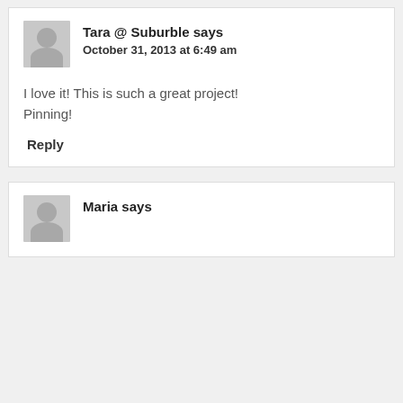Tara @ Suburble says
October 31, 2013 at 6:49 am
I love it! This is such a great project! Pinning!
Reply
Maria says